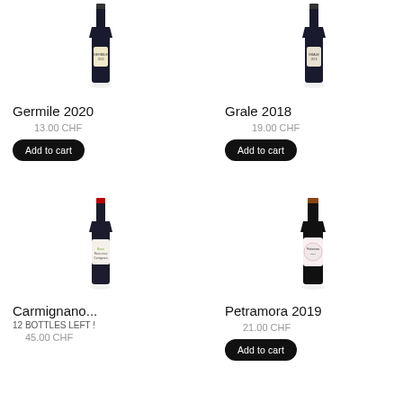[Figure (photo): Wine bottle photo for Germile 2020]
Germile 2020
13.00 CHF
Add to cart
[Figure (photo): Wine bottle photo for Grale 2018]
Grale 2018
19.00 CHF
Add to cart
[Figure (photo): Wine bottle photo for Carmignano...]
Carmignano...
12 BOTTLES LEFT !
45.00 CHF
[Figure (photo): Wine bottle photo for Petramora 2019]
Petramora 2019
21.00 CHF
Add to cart